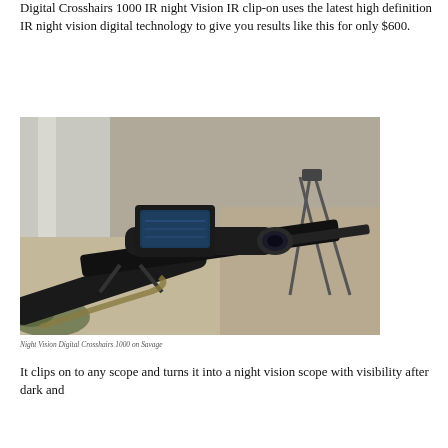Digital Crosshairs 1000 IR night Vision IR clip-on uses the latest high definition IR night vision digital technology to give you results like this for only $600.
[Figure (photo): Photo of a rifle with a Night Vision Digital Crosshairs 1000 device mounted on the scope, placed on a concrete surface, outdoors.]
Night Vision Digital Crosshairs 1000 on Savage
It clips on to any scope and turns it into a night vision scope with visibility after dark and...